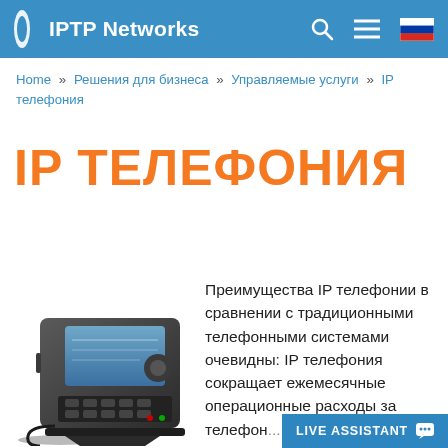IPTP Networks
Home » Решения для бизнеса » Управляемые услуги » IP телефония
IP ТЕЛЕФОНИЯ
[Figure (photo): Photo of a Cisco IP desk phone with a color display and keypad]
Преимущества IP телефонии в сравнении с традиционными телефонными системами очевидны: IP телефония сокращает ежемесячные операционные расходы за телефо... решает ч...